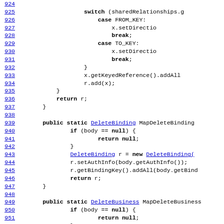Source code listing, lines 924-953, Java code snippet showing switch statement, MapDeleteBinding and MapDeleteBusiness methods